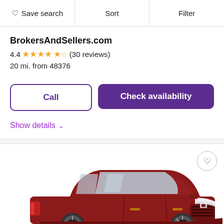Save search   Sort   Filter
BrokersAndSellers.com
4.4 ★★★★½ (30 reviews)
20 mi. from 48376
Call
Check availability
Show details ∨
[Figure (photo): Red Cadillac CTS sedan photographed at a 3/4 front angle, shown in a car listing card with a heart/favorite button in the top right corner.]